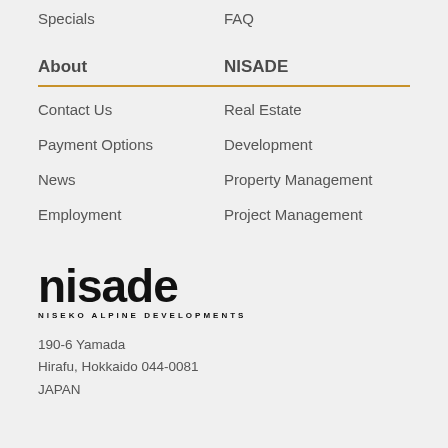Specials
FAQ
About
NISADE
Contact Us
Real Estate
Payment Options
Development
News
Property Management
Employment
Project Management
[Figure (logo): NISADE logo with text 'nisade' in large bold lowercase letters and 'NISEKO ALPINE DEVELOPMENTS' in small caps beneath]
190-6 Yamada
Hirafu, Hokkaido 044-0081
JAPAN